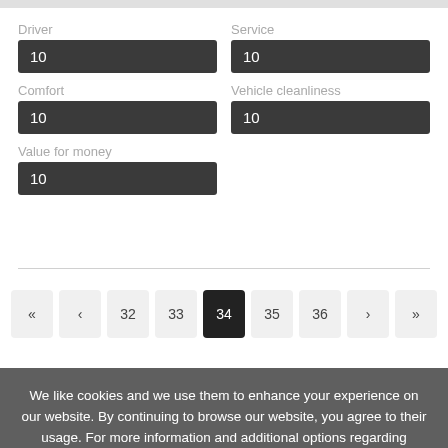Driver
10
Service
10
Comfort
10
Vehicle cleanliness
10
Value for money
10
« ‹ 32 33 34 35 36 › »
We like cookies and we use them to enhance your experience on our website. By continuing to browse our website, you agree to their usage. For more information and additional options regarding cookies, please refer to our Privacy Policy.
Got it!